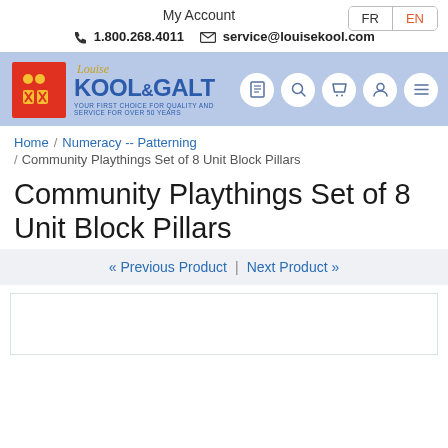My Account
FR | EN
1.800.268.4011  service@louisekool.com
[Figure (logo): Louise Kool & Galt logo with red box icon and blue text]
Home / Numeracy -- Patterning / Community Playthings Set of 8 Unit Block Pillars
Community Playthings Set of 8 Unit Block Pillars
« Previous Product | Next Product »